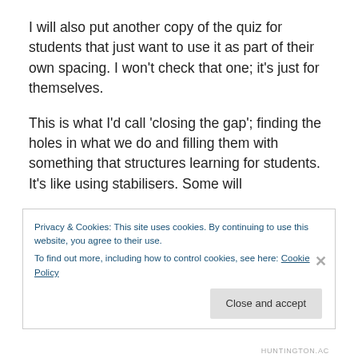I will also put another copy of the quiz for students that just want to use it as part of their own spacing. I won't check that one; it's just for themselves.
This is what I'd call 'closing the gap'; finding the holes in what we do and filling them with something that structures learning for students. It's like using stabilisers. Some will
Privacy & Cookies: This site uses cookies. By continuing to use this website, you agree to their use.
To find out more, including how to control cookies, see here: Cookie Policy
Close and accept
HUNTINGTON.AC